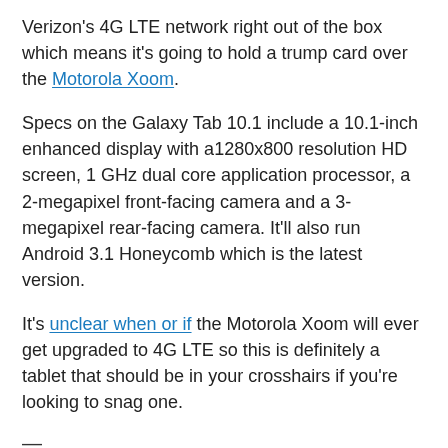Verizon's 4G LTE network right out of the box which means it's going to hold a trump card over the Motorola Xoom.
Specs on the Galaxy Tab 10.1 include a 10.1-inch enhanced display with a1280x800 resolution HD screen, 1 GHz dual core application processor, a 2-megapixel front-facing camera and a 3-megapixel rear-facing camera. It'll also run Android 3.1 Honeycomb which is the latest version.
It's unclear when or if the Motorola Xoom will ever get upgraded to 4G LTE so this is definitely a tablet that should be in your crosshairs if you're looking to snag one.
—
Samsung Galaxy Tab 10.1